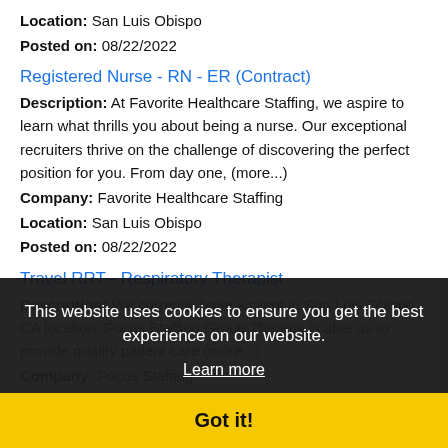Location: San Luis Obispo
Posted on: 08/22/2022
Registered Nurse - RN - ER (Contract)
Description: At Favorite Healthcare Staffing, we aspire to learn what thrills you about being a nurse. Our exceptional recruiters thrive on the challenge of discovering the perfect position for you. From day one, (more...)
Company: Favorite Healthcare Staffing
Location: San Luis Obispo
Posted on: 08/22/2022
Travel RRT - Respiratory Therapist
Description: We currently have a client in San Luis Obispo, CA location. Focus Staffing Group Therapy is able us to provide quality patient care (more...)
Company: Focus Staffing
Location: San Luis Obispo
Posted on: 08/22/2022
Travel Nurse RN - Home Health - $2,057 per week
Description: American Mobile Healthcare is seeking a travel nurse RN Home Health for a travel nursing job in San Luis Obispo
This website uses cookies to ensure you get the best experience on our website.
Learn more
Got it!